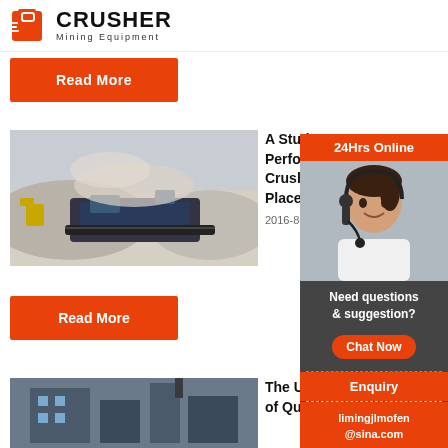[Figure (logo): Crusher Mining Equipment logo with red shopping bag icon and bold black text]
Read More
[Figure (photo): Outdoor photo of large stone crusher/mining equipment with piles of crushed stone and a yellow excavator in the background]
A Study on Performance of Crusher Place of
2016-8-4
Read More
[Figure (photo): Industrial building or plant for quarry/mining operations, blue-toned]
The Utilization of Quarry Dust
[Figure (infographic): Side widget panel: 24Hrs Online banner, photo of woman with headset, Need questions & suggestion? Chat Now button, Enquiry section, limingjlmofen@sina.com email]